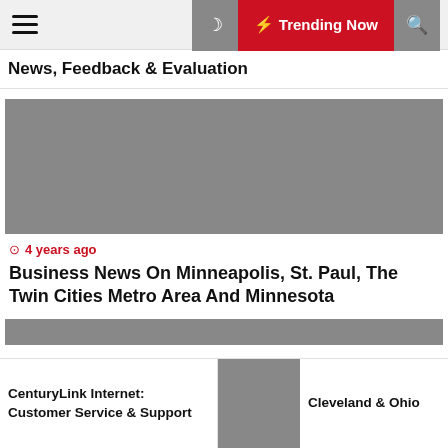Trending Now
News, Feedback & Evaluation
[Figure (photo): Gray placeholder image for article]
4 years ago
Business News On Minneapolis, St. Paul, The Twin Cities Metro Area And Minnesota
[Figure (photo): Gray preview bar at bottom]
CenturyLink Internet: Customer Service & Support
[Figure (photo): Basketball players photo]
Cleveland & Ohio